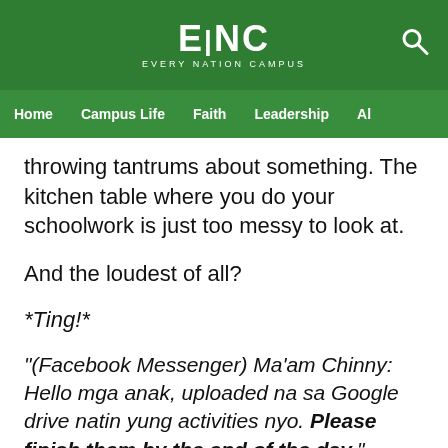[Figure (logo): Every Nation Campus (ENC) logo with search icon on green header bar]
Home   Campus Life   Faith   Leadership   Al
throwing tantrums about something. The kitchen table where you do your schoolwork is just too messy to look at.
And the loudest of all?
*Ting!*
"(Facebook Messenger) Ma'am Chinny: Hello mga anak, uploaded na sa Google drive natin yung activities nyo. Please finish them by the end of the day."